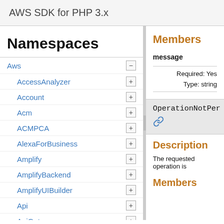AWS SDK for PHP 3.x
Namespaces
Aws
AccessAnalyzer
Account
Acm
ACMPCA
AlexaForBusiness
Amplify
AmplifyBackend
AmplifyUIBuilder
Api
ApiGateway
ApiGatewayManagementApi
Members
message
Required: Yes
Type: string
OperationNotPer
Description
The requested operation is
Members